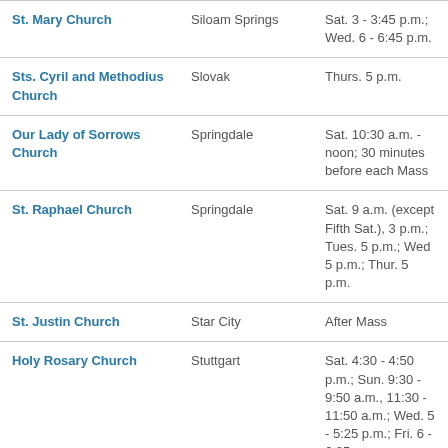| Church | Location | Schedule |
| --- | --- | --- |
| St. Mary Church | Siloam Springs | Sat. 3 - 3:45 p.m.; Wed. 6 - 6:45 p.m. |
| Sts. Cyril and Methodius Church | Slovak | Thurs. 5 p.m. |
| Our Lady of Sorrows Church | Springdale | Sat. 10:30 a.m. - noon; 30 minutes before each Mass |
| St. Raphael Church | Springdale | Sat. 9 a.m. (except Fifth Sat.), 3 p.m.; Tues. 5 p.m.; Wed 5 p.m.; Thur. 5 p.m. |
| St. Justin Church | Star City | After Mass |
| Holy Rosary Church | Stuttgart | Sat. 4:30 - 4:50 p.m.; Sun. 9:30 - 9:50 a.m., 11:30 - 11:50 a.m.; Wed. 5 - 5:25 p.m.; Fri. 6 - 6:25 p.m. |